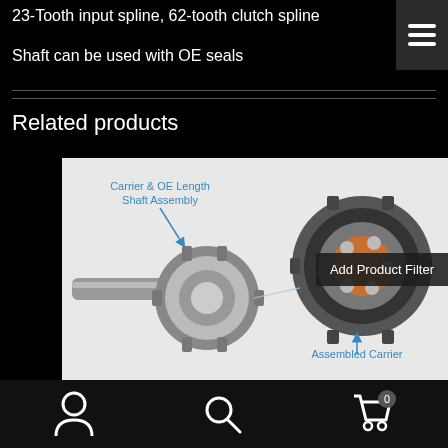23-Tooth input spline, 62-tooth clutch spline
Shaft can be used with OE seals
Related products
[Figure (engineering-diagram): Exploded/assembly diagram of a differential carrier and shaft assembly. Labels point to 'Carrier & OE Length Shaft Assembly' (left component) and 'Assembled Carrier' (right component). A 'Add Product Filter' button overlay is visible on the right side.]
Navigation bar with user icon, search icon, and cart icon (0 items)